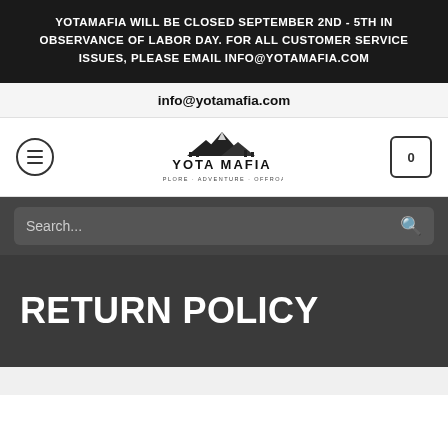YOTAMAFIA WILL BE CLOSED SEPTEMBER 2ND - 5TH IN OBSERVANCE OF LABOR DAY. FOR ALL CUSTOMER SERVICE ISSUES, PLEASE EMAIL INFO@YOTAMAFIA.COM
info@yotamafia.com
[Figure (logo): Yota Mafia logo with mountain illustration and tagline EXPLORE · ADVENTURE · OFFROAD]
Search...
RETURN POLICY